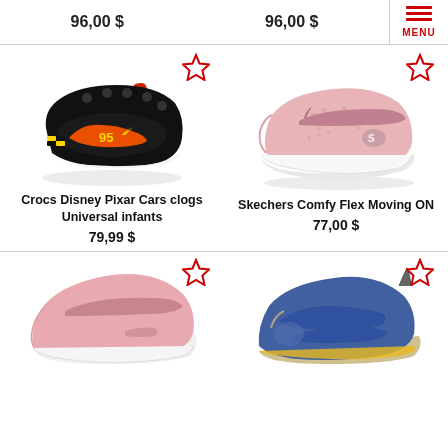96,00 $
96,00 $
[Figure (photo): Crocs Disney Pixar Cars clogs clog shoe in black with Lightning McQueen cartoon graphic, viewed from the side]
[Figure (photo): Skechers Comfy Flex Moving ON pink sneaker with velcro strap for infants, viewed from the side]
Crocs Disney Pixar Cars clogs Universal infants
79,99 $
Skechers Comfy Flex Moving ON
77,00 $
[Figure (photo): Pink velcro sneaker for children, partially visible from above]
[Figure (photo): Blue sandal/shoe for children with yellow accents, partially visible from above]